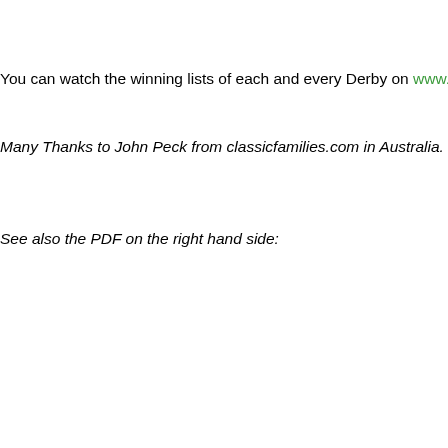You can watch the winning lists of each and every Derby on www.classic
Many Thanks to John Peck from classicfamilies.com in Australia.
See also the PDF on the right hand side: